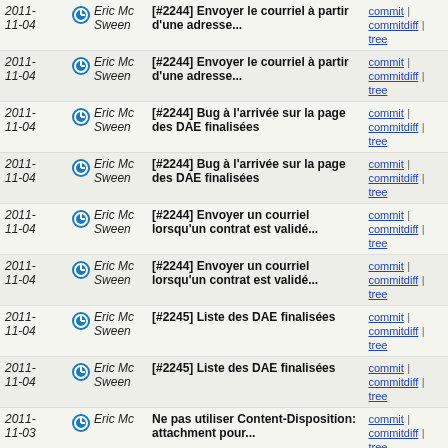| Date | Author | Message | Links |
| --- | --- | --- | --- |
| 2011-11-04 | Eric Mc Sween | [#2244] Envoyer le courriel à partir d'une adresse... | commit | commitdiff | tree |
| 2011-11-04 | Eric Mc Sween | [#2244] Envoyer le courriel à partir d'une adresse... | commit | commitdiff | tree |
| 2011-11-04 | Eric Mc Sween | [#2244] Bug à l'arrivée sur la page des DAE finalisées | commit | commitdiff | tree |
| 2011-11-04 | Eric Mc Sween | [#2244] Bug à l'arrivée sur la page des DAE finalisées | commit | commitdiff | tree |
| 2011-11-04 | Eric Mc Sween | [#2244] Envoyer un courriel lorsqu'un contrat est validé... | commit | commitdiff | tree |
| 2011-11-04 | Eric Mc Sween | [#2244] Envoyer un courriel lorsqu'un contrat est validé... | commit | commitdiff | tree |
| 2011-11-04 | Eric Mc Sween | [#2245] Liste des DAE finalisées | commit | commitdiff | tree |
| 2011-11-04 | Eric Mc Sween | [#2245] Liste des DAE finalisées | commit | commitdiff | tree |
| 2011-11-03 | Eric Mc | Ne pas utiliser Content-Disposition: attachment pour... | commit | commitdiff | tree |